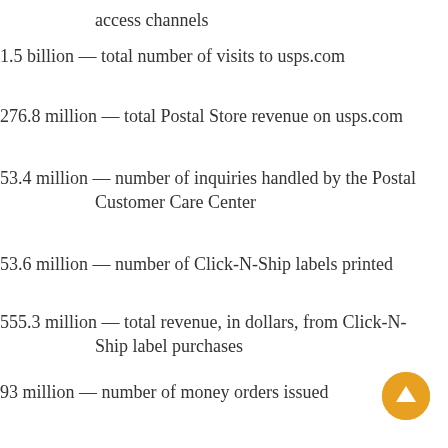access channels
1.5 billion — total number of visits to usps.com
276.8 million — total Postal Store revenue on usps.com
53.4 million — number of inquiries handled by the Postal Customer Care Center
53.6 million — number of Click-N-Ship labels printed
555.3 million — total revenue, in dollars, from Click-N-Ship label purchases
93 million — number of money orders issued
5.4 million — number of passport applications the Postal Service accepted at post offices
462.8 million — amount in revenue from 2,500 postal Self-Service Kiosks, in dollars
1.1 million — number of new delivery points added to